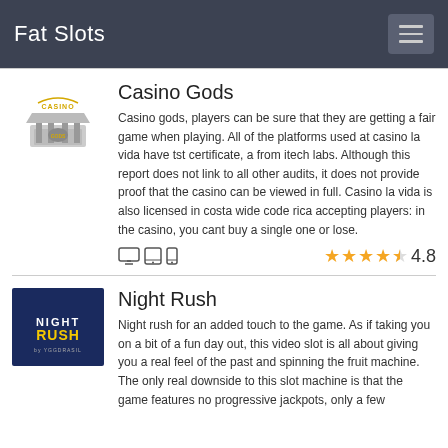Fat Slots
Casino Gods
Casino gods, players can be sure that they are getting a fair game when playing. All of the platforms used at casino la vida have tst certificate, a from itech labs. Although this report does not link to all other audits, it does not provide proof that the casino can be viewed in full. Casino la vida is also licensed in costa wide code rica accepting players: in the casino, you cant buy a single one or lose.
4.8
Night Rush
Night rush for an added touch to the game. As if taking you on a bit of a fun day out, this video slot is all about giving you a real feel of the past and spinning the fruit machine. The only real downside to this slot machine is that the game features no progressive jackpots, only a few